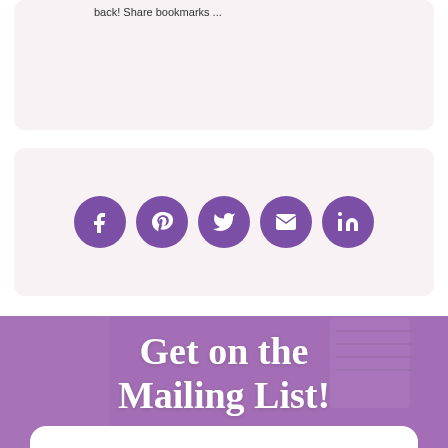back! Share bookmarks ...
[Figure (infographic): Social media share icons: Facebook, Pinterest, Twitter, Email, LinkedIn — purple circles with white icons]
Get on the Mailing List!
IT'S THE BEST WAY TO STAY IN THE KNOW